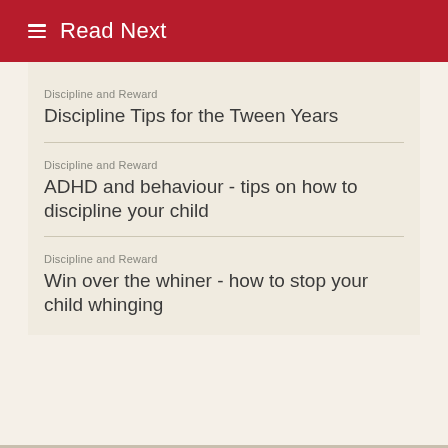Read Next
Discipline and Reward
Discipline Tips for the Tween Years
Discipline and Reward
ADHD and behaviour - tips on how to discipline your child
Discipline and Reward
Win over the whiner - how to stop your child whinging